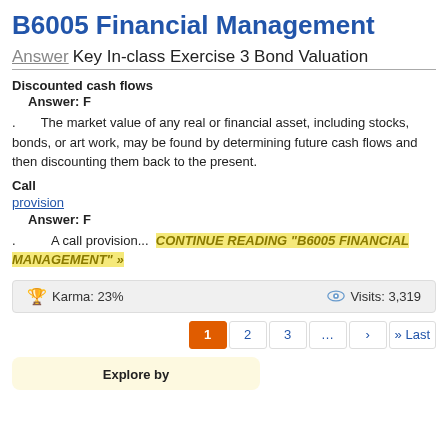B6005 Financial Management
Answer Key In-class Exercise 3 Bond Valuation
Discounted cash flows
    Answer: F
.       The market value of any real or financial asset, including stocks, bonds, or art work, may be found by determining future cash flows and then discounting them back to the present.
Call
provision
  Answer: F
.          A call provision...  CONTINUE READING "B6005 FINANCIAL MANAGEMENT" »
🏆  Karma: 23%          👁  Visits: 3,319
1  2  3  ...  ›  » Last
Explore by